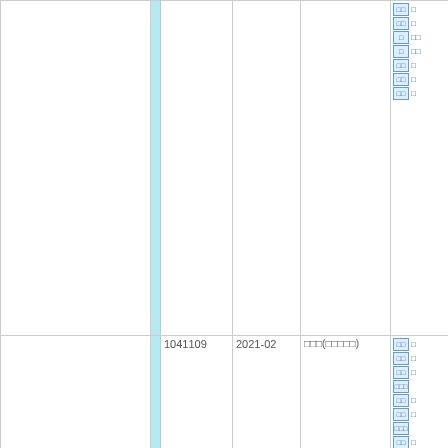| (blank) | (bar) | ID | Date | Description | Links |
| --- | --- | --- | --- | --- | --- |
|  |  |  |  |  |  |
|  |  | 1041109 | 2021-02 | □□□(□□□□□) |  |